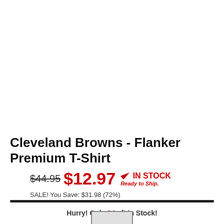Cleveland Browns - Flanker Premium T-Shirt
$44.95  $12.97  IN STOCK Ready to Ship.
SALE! You Save: $31.98 (72%)
Hurry! Only 3 Left in Stock!